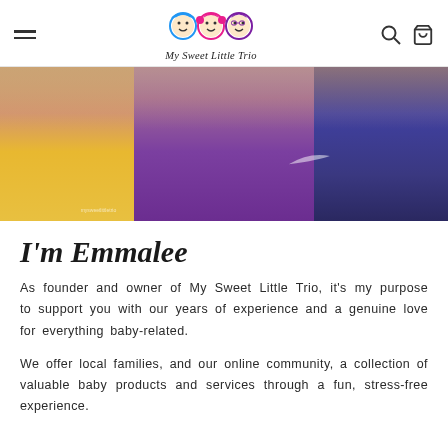My Sweet Little Trio
[Figure (photo): Three children close together smiling at camera; one wearing yellow shirt, one in purple sports top, one in blue Nike hoodie.]
I'm Emmalee
As founder and owner of My Sweet Little Trio, it's my purpose to support you with our years of experience and a genuine love for everything baby-related.
We offer local families, and our online community, a collection of valuable baby products and services through a fun, stress-free experience.